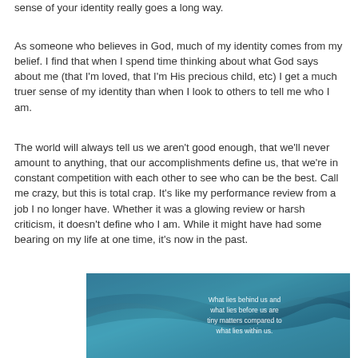sense of your identity really goes a long way.
As someone who believes in God, much of my identity comes from my belief. I find that when I spend time thinking about what God says about me (that I'm loved, that I'm His precious child, etc) I get a much truer sense of my identity than when I look to others to tell me who I am.
The world will always tell us we aren't good enough, that we'll never amount to anything, that our accomplishments define us, that we're in constant competition with each other to see who can be the best. Call me crazy, but this is total crap. It's like my performance review from a job I no longer have. Whether it was a glowing review or harsh criticism, it doesn't define who I am. While it might have had some bearing on my life at one time, it's now in the past.
[Figure (photo): Inspirational image with blue abstract background and quote text: 'What lies behind us and what lies before us are tiny matters compared to what lies within us.']